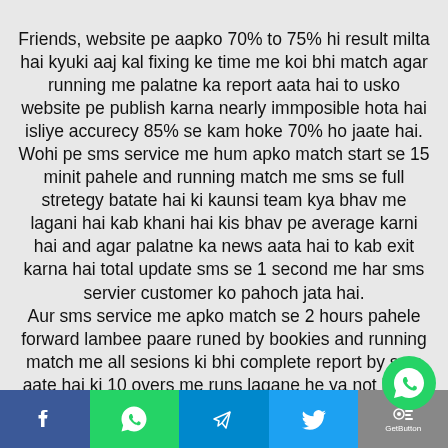Friends, website pe aapko 70% to 75% hi result milta hai kyuki aaj kal fixing ke time me koi bhi match agar running me palatne ka report aata hai to usko website pe publish karna nearly immposible hota hai isliye accurecy 85% se kam hoke 70% ho jaate hai.
Wohi pe sms service me hum apko match start se 15 minit pahele and running match me sms se full stretegy batate hai ki kaunsi team kya bhav me lagani hai kab khani hai kis bhav pe average karni hai and agar palatne ka news aata hai to kab exit karna hai total update sms se 1 second me har sms servier customer ko pahoch jata hai.
Aur sms service me apko match se 2 hours pahele forward lambee paare runed by bookies and running match me all sesions ki bhi complete report by sms aate hai ki 10 overs me runs lagane he ya not karne hai and total score yes karna hai ki not karna hai.
So i hope aap samajh gaye honge ki webs...
[Figure (other): Footer social media share bar with Facebook, WhatsApp, Telegram, Twitter, and GetButton icons. A floating WhatsApp button overlays the bottom-right corner.]